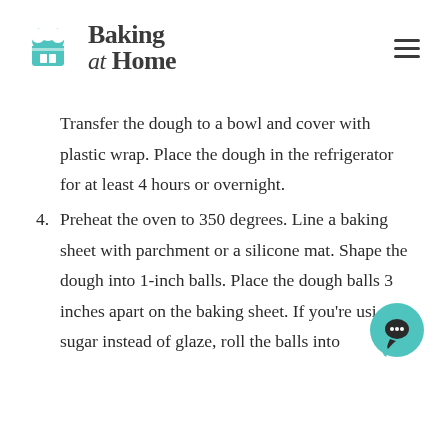Baking at Home
Transfer the dough to a bowl and cover with plastic wrap. Place the dough in the refrigerator for at least 4 hours or overnight.
4. Preheat the oven to 350 degrees. Line a baking sheet with parchment or a silicone mat. Shape the dough into 1-inch balls. Place the dough balls 3 inches apart on the baking sheet. If you're usi sugar instead of glaze, roll the balls into